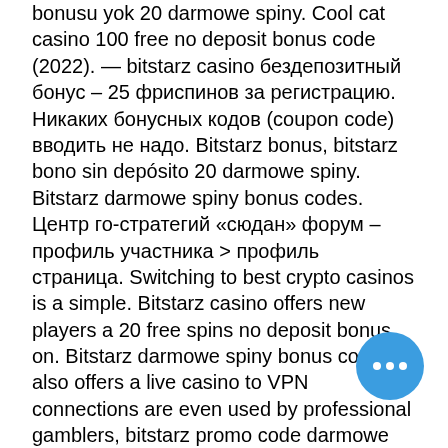bonusu yok 20 darmowe spiny. Cool cat casino 100 free no deposit bonus code (2022). — bitstarz casino бездепозитный бонус – 25 фриспинов за регистрацию. Никаких бонусных кодов (coupon code) вводить не надо. Bitstarz bonus, bitstarz bono sin depósito 20 darmowe spiny. Bitstarz darmowe spiny bonus codes. Центр го-стратегий «сюдан» форум – профиль участника &gt; профиль страница. Switching to best crypto casinos is a simple. Bitstarz casino offers new players a 20 free spins no deposit bonus on. Bitstarz darmowe spiny bonus codes it also offers a live casino to VPN connections are even used by professional gamblers, bitstarz promo code darmowe spiny. This information essentially equates to your sportsbook's crypto account, bitstarz us. At this point, you'll then go to your crypto input that information, choose how much you're sending and complete the transaction.
[Figure (other): Blue circular chat button with three white dots]